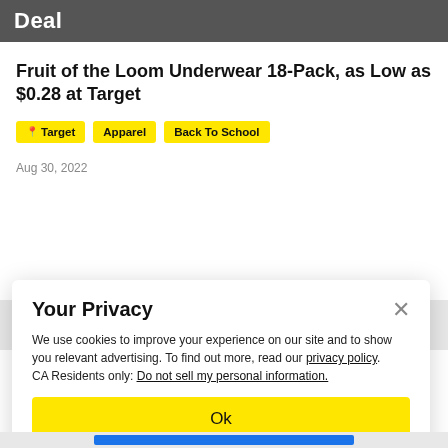Deal
Fruit of the Loom Underwear 18-Pack, as Low as $0.28 at Target
Target
Apparel
Back To School
Aug 30, 2022
Your Privacy
We use cookies to improve your experience on our site and to show you relevant advertising. To find out more, read our privacy policy.
CA Residents only: Do not sell my personal information.
Ok